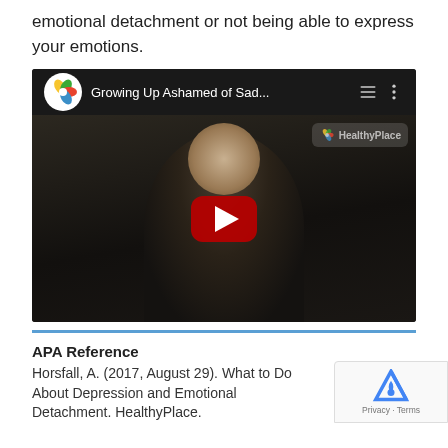emotional detachment or not being able to express your emotions.
[Figure (screenshot): YouTube video thumbnail showing a young woman with short blonde hair in a dark room, with the title 'Growing Up Ashamed of Sad...' and a red play button in the center. HealthyPlace logo visible in top-left and watermark top-right.]
APA Reference
Horsfall, A. (2017, August 29). What to Do About Depression and Emotional Detachment. HealthyPlace.